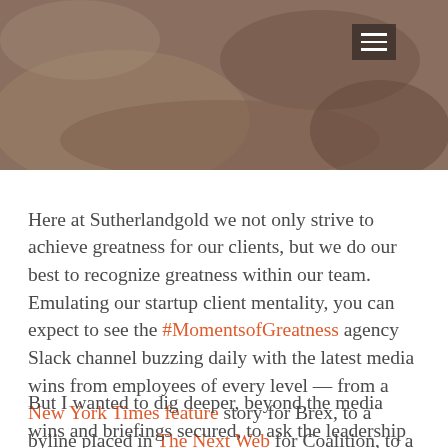[Figure (photo): A close-up photo of hands, likely holding something, with a dark overlay. A hamburger menu icon (three horizontal lines) is visible in the upper-right area of the image on a dark semi-transparent background.]
Here at Sutherlandgold we not only strive to achieve greatness for our clients, but we do our best to recognize greatness within our team. Emulating our startup client mentality, you can expect to see the #MomentsofGreatness agency Slack channel buzzing daily with the latest media wins from employees of every level — from a New York Times feature story for Brex, to a byline placed in The Next Web for Coalition, to a junior staffer landing their first exclusive for an important announcement for Common Networks in CNET. There is no shortage of media wins to celebrate from our talented group.
But I wanted to dig deeper, beyond the media wins and briefings secured, to ask the leadership team here at SG, "What work are